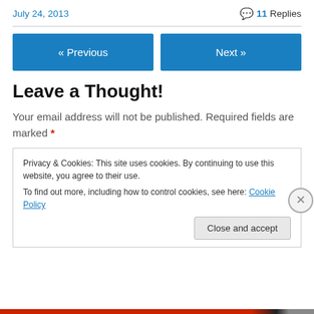July 24, 2013
11 Replies
« Previous
Next »
Leave a Thought!
Your email address will not be published. Required fields are marked *
Privacy & Cookies: This site uses cookies. By continuing to use this website, you agree to their use.
To find out more, including how to control cookies, see here: Cookie Policy
Close and accept